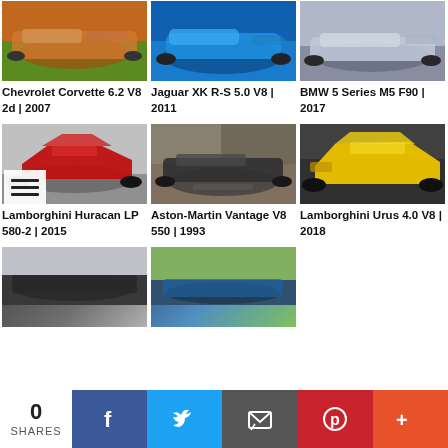[Figure (photo): Orange Chevrolet Corvette sports car on road]
Chevrolet Corvette 6.2 V8 2d | 2007
[Figure (photo): Blue Jaguar XK R-S sports car]
Jaguar XK R-S 5.0 V8 | 2011
[Figure (photo): Silver BMW 5 Series M5 F90 sedan]
BMW 5 Series M5 F90 | 2017
[Figure (photo): Red Lamborghini Huracan LP 580-2 on track]
Lamborghini Huracan LP 580-2 | 2015
[Figure (photo): Dark Aston-Martin Vantage V8 550 classic car]
Aston-Martin Vantage V8 550 | 1993
[Figure (photo): Yellow Lamborghini Urus SUV]
Lamborghini Urus 4.0 V8 | 2018
[Figure (photo): Grey/dark car partially visible at bottom]
[Figure (photo): Blue car on track partially visible at bottom]